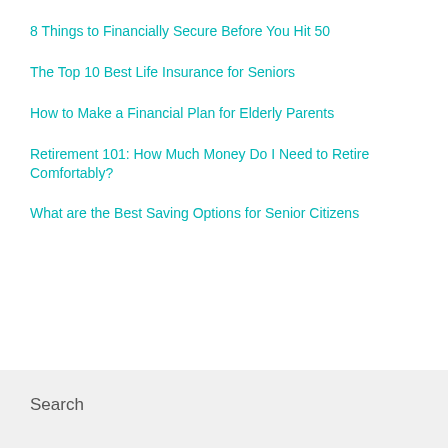8 Things to Financially Secure Before You Hit 50
The Top 10 Best Life Insurance for Seniors
How to Make a Financial Plan for Elderly Parents
Retirement 101: How Much Money Do I Need to Retire Comfortably?
What are the Best Saving Options for Senior Citizens
Search